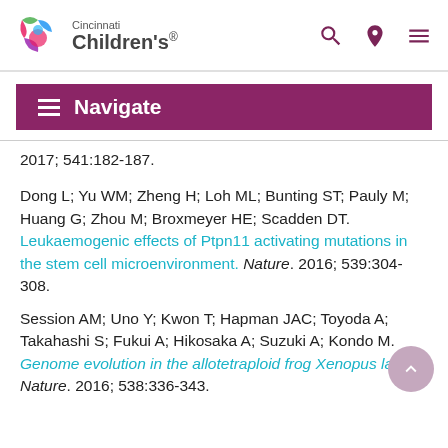Cincinnati Children's
Navigate
2017; 541:182-187.
Dong L; Yu WM; Zheng H; Loh ML; Bunting ST; Pauly M; Huang G; Zhou M; Broxmeyer HE; Scadden DT. Leukaemogenic effects of Ptpn11 activating mutations in the stem cell microenvironment. Nature. 2016; 539:304-308.
Session AM; Uno Y; Kwon T; Hapman JAC; Toyoda A; Takahashi S; Fukui A; Hikosaka A; Suzuki A; Kondo M. Genome evolution in the allotetraploid frog Xenopus laevis. Nature. 2016; 538:336-343.